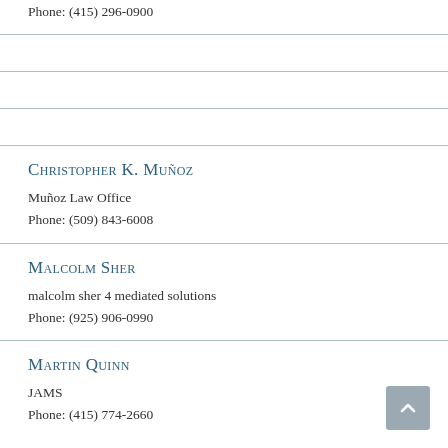Phone: (415) 296-0900
Christopher K. Muñoz
Muñoz Law Office
Phone: (509) 843-6008
Malcolm Sher
malcolm sher 4 mediated solutions
Phone: (925) 906-0990
Martin Quinn
JAMS
Phone: (415) 774-2660